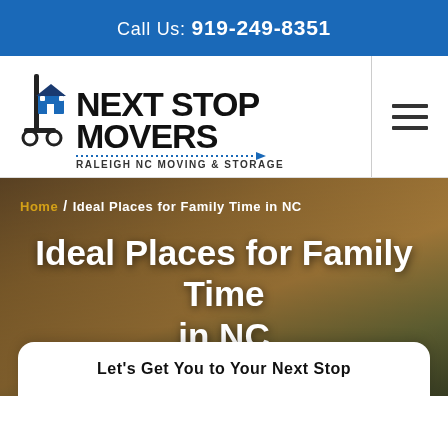Call Us: 919-249-8351
[Figure (logo): Next Stop Movers logo — Raleigh NC Moving & Storage, with a hand truck and house icon]
Home / Ideal Places for Family Time in NC
Ideal Places for Family Time in NC
Let's Get You to Your Next Stop